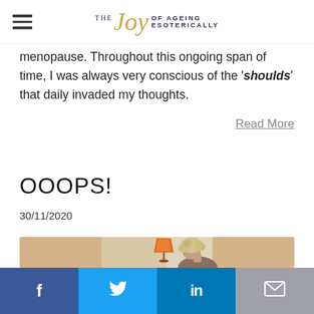THE JOY OF AGEING ESOTERICALLY
menopause. Throughout this ongoing span of time, I was always very conscious of the 'shoulds' that daily invaded my thoughts.
Read More
OOOPS!
30/11/2020
[Figure (photo): Photo of a woman with curly grey-blonde hair sitting near an orange lamp, head bowed down]
Facebook | Twitter | LinkedIn | Email